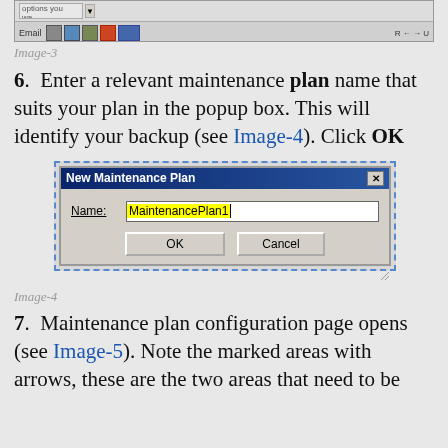[Figure (screenshot): Top portion of a Windows application screenshot showing toolbar area]
Image-3
6.  Enter a relevant maintenance plan name that suits your plan in the popup box. This will identify your backup (see Image-4). Click OK
[Figure (screenshot): New Maintenance Plan dialog box with Name field containing 'MaintenancePlan1' highlighted in yellow, and OK and Cancel buttons]
Image-4
7.  Maintenance plan configuration page opens (see Image-5). Note the marked areas with arrows, these are the two areas that need to be